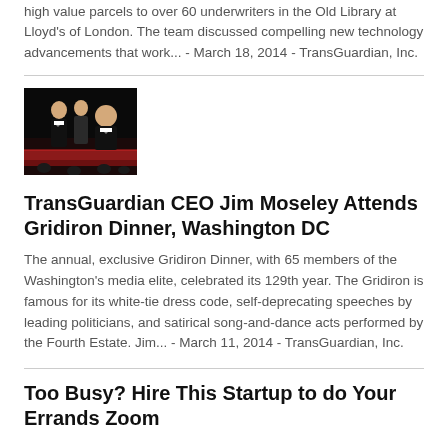high value parcels to over 60 underwriters in the Old Library at Lloyd's of London. The team discussed compelling new technology advancements that work... - March 18, 2014 - TransGuardian, Inc.
[Figure (photo): Photo of people at the Gridiron Dinner event, dark background with formal attire]
TransGuardian CEO Jim Moseley Attends Gridiron Dinner, Washington DC
The annual, exclusive Gridiron Dinner, with 65 members of the Washington's media elite, celebrated its 129th year. The Gridiron is famous for its white-tie dress code, self-deprecating speeches by leading politicians, and satirical song-and-dance acts performed by the Fourth Estate. Jim... - March 11, 2014 - TransGuardian, Inc.
Too Busy? Hire This Startup to do Your Errands Zoom